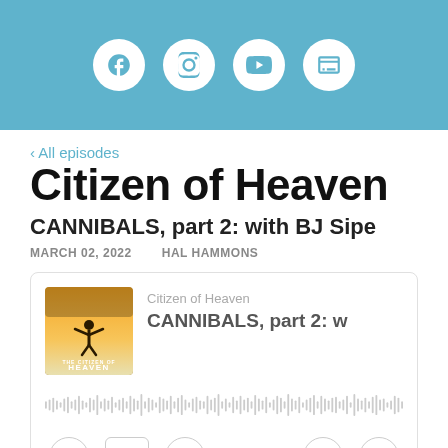[Figure (screenshot): Header bar with social media icons: Facebook, Instagram, YouTube, and a browser/website icon on a light blue background]
‹ All episodes
Citizen of Heaven
CANNIBALS, part 2: with BJ Sipe
MARCH 02, 2022    HAL HAMMONS
[Figure (screenshot): Podcast audio player widget showing the Citizen of Heaven podcast thumbnail, episode title 'CANNIBALS, part 2: w', waveform audio visualization, and player controls including back 10s, 1x speed, forward 30s, info, and share buttons]